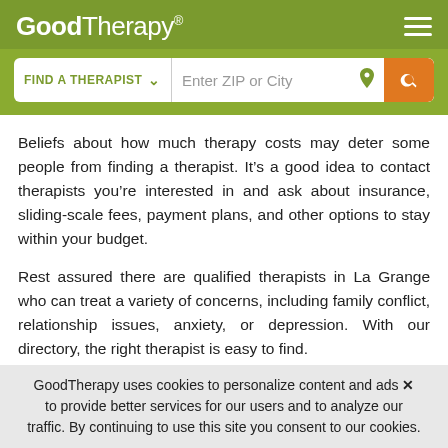GoodTherapy®
[Figure (screenshot): GoodTherapy website header with logo, hamburger menu, and search bar with 'FIND A THERAPIST' dropdown and 'Enter ZIP or City' input]
Beliefs about how much therapy costs may deter some people from finding a therapist. It's a good idea to contact therapists you're interested in and ask about insurance, sliding-scale fees, payment plans, and other options to stay within your budget.
Rest assured there are qualified therapists in La Grange who can treat a variety of concerns, including family conflict, relationship issues, anxiety, or depression. With our directory, the right therapist is easy to find.
GoodTherapy uses cookies to personalize content and ads × to provide better services for our users and to analyze our traffic. By continuing to use this site you consent to our cookies.